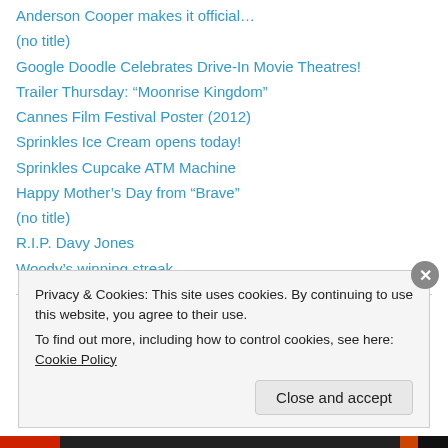Anderson Cooper makes it official…
(no title)
Google Doodle Celebrates Drive-In Movie Theatres!
Trailer Thursday: “Moonrise Kingdom”
Cannes Film Festival Poster (2012)
Sprinkles Ice Cream opens today!
Sprinkles Cupcake ATM Machine
Happy Mother’s Day from “Brave”
(no title)
R.I.P. Davy Jones
Woody’s winning streak…
Privacy & Cookies: This site uses cookies. By continuing to use this website, you agree to their use.
To find out more, including how to control cookies, see here: Cookie Policy